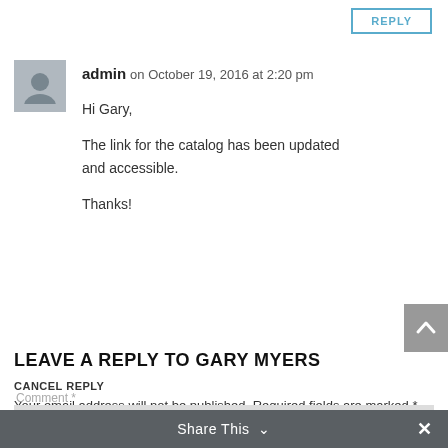REPLY
admin on October 19, 2016 at 2:20 pm
Hi Gary,

The link for the catalog has been updated and accessible.

Thanks!
REPLY
LEAVE A REPLY TO GARY MYERS
CANCEL REPLY
Your email address will not be published. Required fields are marked *
Share This